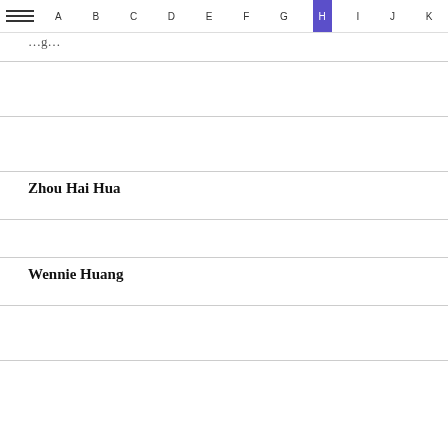≡  A  B  C  D  E  F  G  H  I  J  K
...g...
Zhou Hai Hua
Wennie Huang